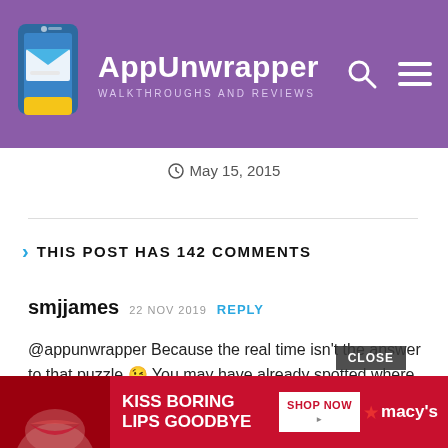AppUnwrapper WALKTHROUGHS AND REVIEWS
May 15, 2015
THIS POST HAS 142 COMMENTS
smjjames 22 NOV 2019 REPLY
@appunwrapper Because the real time isn't the answer to that puzzle 😉 You may have already spotted where to use the axe. Anyways, I'm stuck right after finding the secret area (THAT was a sneaky one) and I have the lab. Currently I have a measuring cup, a li... what the heck ... to do,
[Figure (screenshot): Macy's advertisement overlay with 'KISS BORING LIPS GOODBYE' text, a SHOP NOW button, Macy's logo, and a CLOSE button]